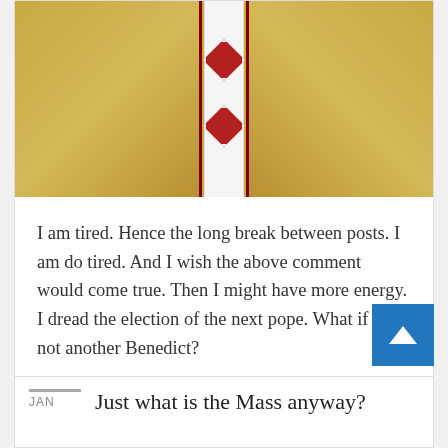[Figure (photo): Close-up photo of a Catholic bishop or pope in golden vestments wearing a white stole with red cross/maltese cross emblems and maroon trim borders]
I am tired. Hence the long break between posts. I am do tired. And I wish the above comment would come true. Then I might have more energy. I dread the election of the next pope. What if he's not another Benedict?
Continue reading
Just what is the Mass anyway?
JAN